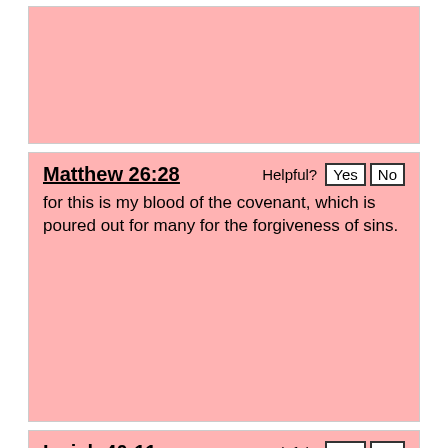[Figure (screenshot): Pink card with no visible text content (top card, partially visible)]
Matthew 26:28
for this is my blood of the covenant, which is poured out for many for the forgiveness of sins.
Isaiah 40:11
He will tend his flock like a shepherd; he will gather the lambs in his arms; he will carry them in his bosom, and gently lead those that are with young.